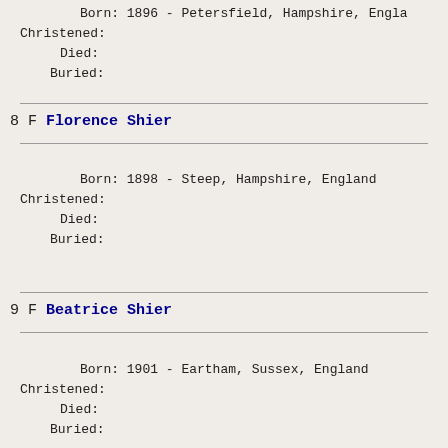Born: 1896 - Petersfield, Hampshire, England
Christened:
Died:
Buried:
8 F Florence Shier
Born: 1898 - Steep, Hampshire, England
Christened:
Died:
Buried:
9 F Beatrice Shier
Born: 1901 - Eartham, Sussex, England
Christened:
Died:
Buried: